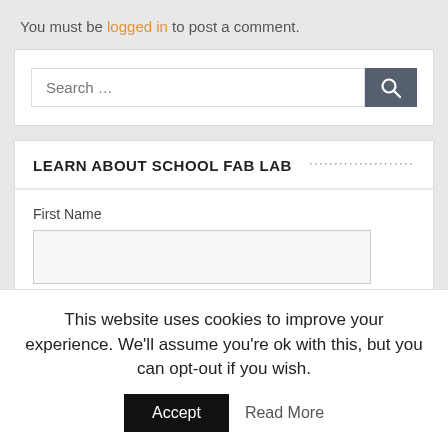You must be logged in to post a comment.
[Figure (screenshot): Search input box with a dark search button containing a magnifying glass icon]
LEARN ABOUT SCHOOL FAB LAB
First Name
This website uses cookies to improve your experience. We'll assume you're ok with this, but you can opt-out if you wish.
Accept   Read More